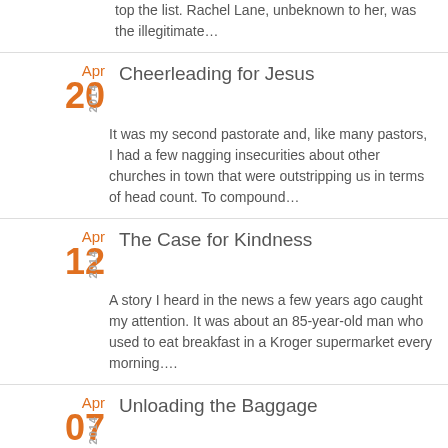top the list. Rachel Lane, unbeknown to her, was the illegitimate…
Cheerleading for Jesus
It was my second pastorate and, like many pastors, I had a few nagging insecurities about other churches in town that were outstripping us in terms of head count. To compound…
The Case for Kindness
A story I heard in the news a few years ago caught my attention. It was about an 85-year-old man who used to eat breakfast in a Kroger supermarket every morning….
Unloading the Baggage
I boarded the plane in Chicago with too much baggage. Not the kind of baggage you stow in the overhead compartment or squash under the